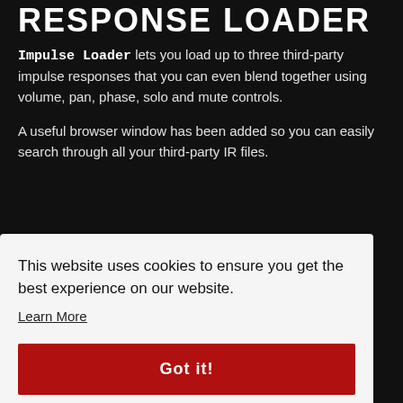RESPONSE LOADER
Impulse Loader lets you load up to three third-party impulse responses that you can even blend together using volume, pan, phase, solo and mute controls.
A useful browser window has been added so you can easily search through all your third-party IR files.
This website uses cookies to ensure you get the best experience on our website.
Learn More
Got it!